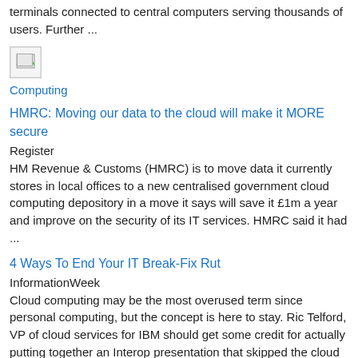terminals connected to central computers serving thousands of users. Further ...
[Figure (other): Broken image placeholder thumbnail]
Computing
HMRC: Moving our data to the cloud will make it MORE secure
Register
HM Revenue & Customs (HMRC) is to move data it currently stores in local offices to a new centralised government cloud computing depository in a move it says will save it £1m a year and improve on the security of its IT services. HMRC said it had ...
4 Ways To End Your IT Break-Fix Rut
InformationWeek
Cloud computing may be the most overused term since personal computing, but the concept is here to stay. Ric Telford, VP of cloud services for IBM should get some credit for actually putting together an Interop presentation that skipped the cloud hype ...